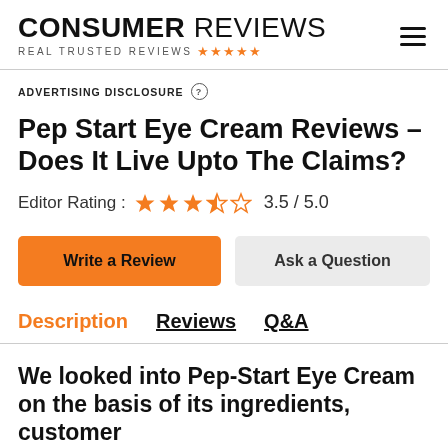CONSUMER REVIEWS — REAL TRUSTED REVIEWS
ADVERTISING DISCLOSURE
Pep Start Eye Cream Reviews – Does It Live Upto The Claims?
Editor Rating : 3.5 / 5.0
Write a Review
Ask a Question
Description  Reviews  Q&A
We looked into Pep-Start Eye Cream on the basis of its ingredients, customer